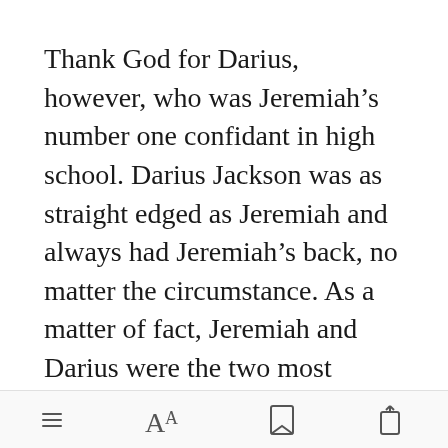Thank God for Darius, however, who was Jeremiah's number one confidant in high school. Darius Jackson was as straight edged as Jeremiah and always had Jeremiah's back, no matter the circumstance. As a matter of fact, Jeremiah and Darius were the two most promising students in Nashville's Northeast High School. T[Open in app]adored both
[Figure (screenshot): Mobile app toolbar with menu icon, font size (AA) icon, bookmark icon, and share icon]